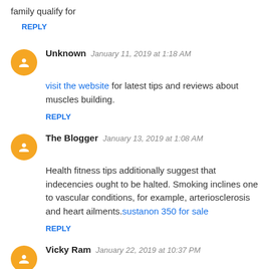family qualify for
REPLY
Unknown   January 11, 2019 at 1:18 AM
visit the website for latest tips and reviews about muscles building.
REPLY
The Blogger   January 13, 2019 at 1:08 AM
Health fitness tips additionally suggest that indecencies ought to be halted. Smoking inclines one to vascular conditions, for example, arteriosclerosis and heart ailments.sustanon 350 for sale
REPLY
Vicky Ram   January 22, 2019 at 10:37 PM
Thank you sharing this kind of noteworthy information. Nice Post.